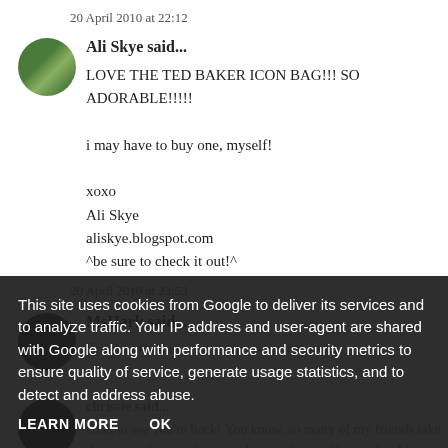20 April 2010 at 22:12
Ali Skye said...
LOVE THE TED BAKER ICON BAG!!! SO ADORABLE!!!!!

i may have to buy one, myself!

xoxo
Ali Skye
aliskye.blogspot.com
^be sure to check it out!^
20 April 2010 at 23:53
MsHark said...
Cute! I am glad your days are looking up!
chrissie said...
Glad to see you're back! You know, so many of my friends take the piss or fr... them to take pics for my blog or that I have to do an update when I get home.
This site uses cookies from Google to deliver its services and to analyze traffic. Your IP address and user-agent are shared with Google along with performance and security metrics to ensure quality of service, generate usage statistics, and to detect and address abuse.